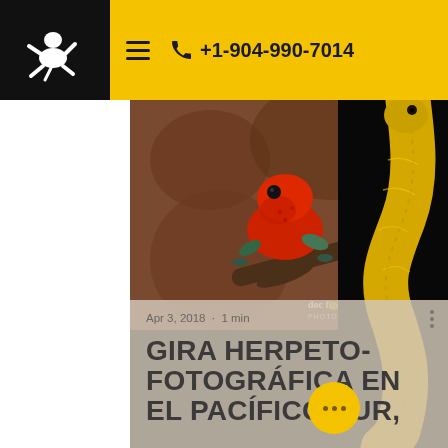≡  +1-904-990-7014
[Figure (photo): Close-up photograph of a red poison dart frog (Oophaga pumilio) perched on a branch, with vivid red/orange body against a brown background. Doc Frog Photography watermark visible.]
[Figure (photo): Yellow eyelash palm pitviper (Bothriechis schlegelii) snake photographed against black background, showing detailed yellow scales and head.]
Apr 3, 2018  ·  1 min
GIRA HERPETO-FOTOGRÁFICA EN EL PACÍFICO SUR,